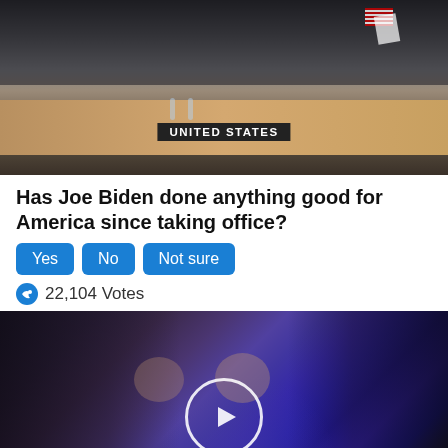[Figure (photo): A meeting room scene with people seated around a conference table, with a 'UNITED STATES' nameplate visible, and an American flag in the background.]
Has Joe Biden done anything good for America since taking office?
Yes  No  Not sure
22,104 Votes
[Figure (photo): A group of politicians standing together. Nancy Pelosi in the center speaking, flanked by other politicians. A video play button overlay is centered on the image.]